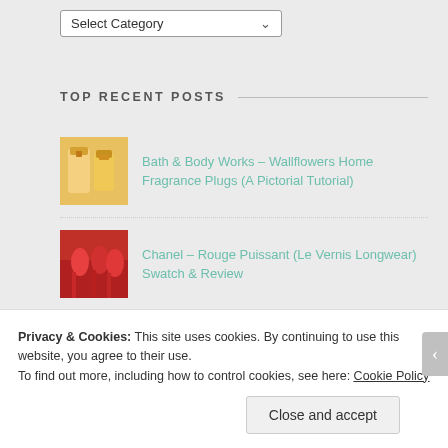[Figure (screenshot): Select Category dropdown input]
TOP RECENT POSTS
Bath & Body Works – Wallflowers Home Fragrance Plugs (A Pictorial Tutorial)
Chanel – Rouge Puissant (Le Vernis Longwear) Swatch & Review
Haulage! Charity Purchase at Shoppers Drug Mart
Privacy & Cookies: This site uses cookies. By continuing to use this website, you agree to their use. To find out more, including how to control cookies, see here: Cookie Policy
Close and accept